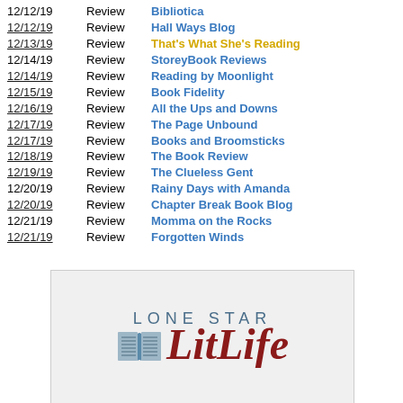12/12/19   Review   Bibliotica
12/12/19   Review   Hall Ways Blog
12/13/19   Review   That's What She's Reading
12/14/19   Review   StoreyBook Reviews
12/14/19   Review   Reading by Moonlight
12/15/19   Review   Book Fidelity
12/16/19   Review   All the Ups and Downs
12/17/19   Review   The Page Unbound
12/17/19   Review   Books and Broomsticks
12/18/19   Review   The Book Review
12/19/19   Review   The Clueless Gent
12/20/19   Review   Rainy Days with Amanda
12/20/19   Review   Chapter Break Book Blog
12/21/19   Review   Momma on the Rocks
12/21/19   Review   Forgotten Winds
[Figure (logo): Lone Star LitLife logo with an open book illustration and teal/dark red text]